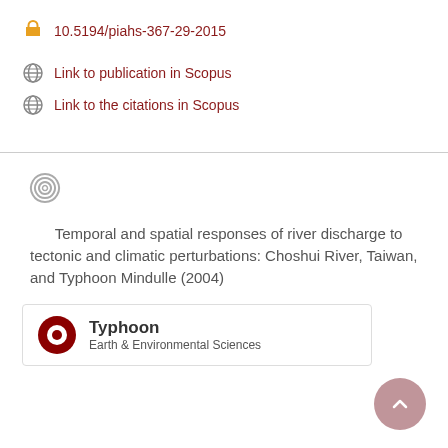10.5194/piahs-367-29-2015
Link to publication in Scopus
Link to the citations in Scopus
Temporal and spatial responses of river discharge to tectonic and climatic perturbations: Choshui River, Taiwan, and Typhoon Mindulle (2004)
Typhoon
Earth & Environmental Sciences